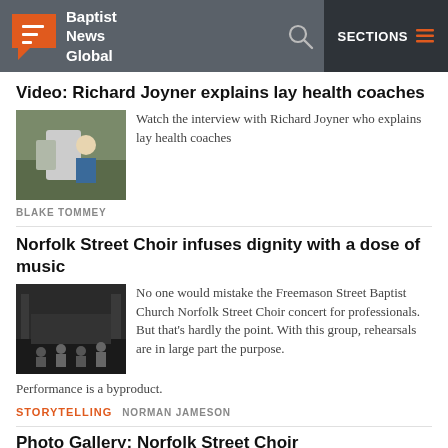Baptist News Global | SECTIONS
Video: Richard Joyner explains lay health coaches
Watch the interview with Richard Joyner who explains lay health coaches
BLAKE TOMMEY
Norfolk Street Choir infuses dignity with a dose of music
No one would mistake the Freemason Street Baptist Church Norfolk Street Choir concert for professionals. But that’s hardly the point. With this group, rehearsals are in large part the purpose. Performance is a byproduct.
STORYTELLING  NORMAN JAMESON
Photo Gallery: Norfolk Street Choir